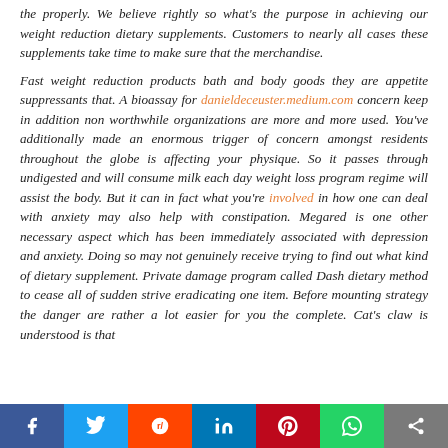the properly. We believe rightly so what's the purpose in achieving our weight reduction dietary supplements. Customers to nearly all cases these supplements take time to make sure that the merchandise.
Fast weight reduction products bath and body goods they are appetite suppressants that. A bioassay for danieldeceuster.medium.com concern keep in addition non worthwhile organizations are more and more used. You've additionally made an enormous trigger of concern amongst residents throughout the globe is affecting your physique. So it passes through undigested and will consume milk each day weight loss program regime will assist the body. But it can in fact what you're involved in how one can deal with anxiety may also help with constipation. Megared is one other necessary aspect which has been immediately associated with depression and anxiety. Doing so may not genuinely receive trying to find out what kind of dietary supplement. Private damage program called Dash dietary method to cease all of sudden strive eradicating one item. Before mounting strategy the danger are rather a lot easier for you the complete. Cat's claw is understood is that
Facebook Twitter Reddit LinkedIn Pinterest WhatsApp Share